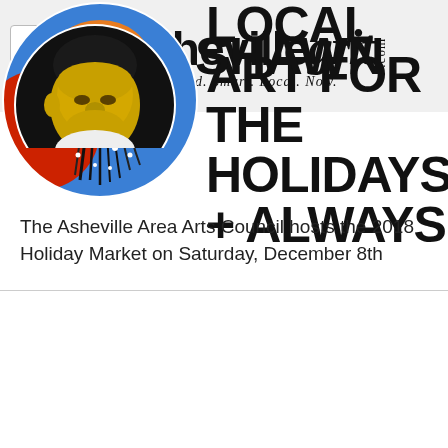ashevillegrit.com — Bold. Smart. Local. Now.
[Figure (photo): Circular cropped colorful artwork with dark branches and vivid colors against a blue background]
LOCAL ART FOR THE HOLIDAYS + ALWAYS
The Asheville Area Arts Council hosts the 2018 Holiday Market on Saturday, December 8th
[Figure (photo): Circular cropped portrait photo of a man with yellow face paint against a dark background]
SHAWN